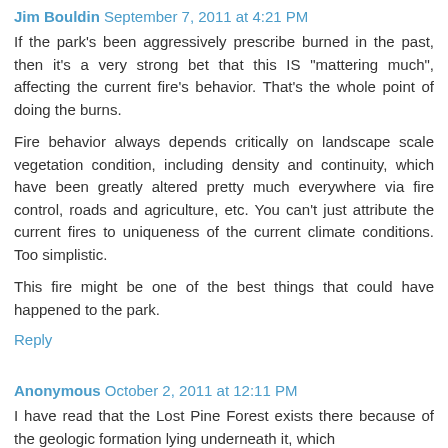Jim Bouldin September 7, 2011 at 4:21 PM
If the park's been aggressively prescribe burned in the past, then it's a very strong bet that this IS "mattering much", affecting the current fire's behavior. That's the whole point of doing the burns.
Fire behavior always depends critically on landscape scale vegetation condition, including density and continuity, which have been greatly altered pretty much everywhere via fire control, roads and agriculture, etc. You can't just attribute the current fires to uniqueness of the current climate conditions. Too simplistic.
This fire might be one of the best things that could have happened to the park.
Reply
Anonymous October 2, 2011 at 12:11 PM
I have read that the Lost Pine Forest exists there because of the geologic formation lying underneath it, which